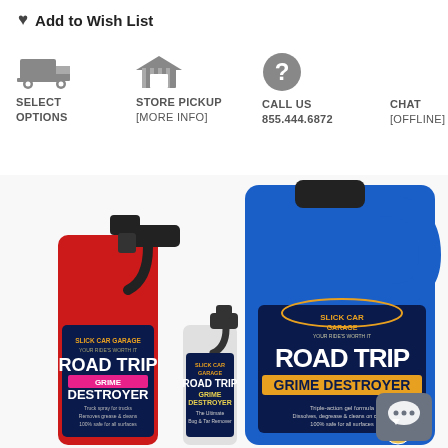♥ Add to Wish List
[Figure (infographic): Three icon blocks: truck (SELECT OPTIONS), store (STORE PICKUP [More Info]), question mark (CALL US 855.444.6872), and chat (CHAT [Offline])]
[Figure (photo): Three Road Trip Grime Destroyer products from Slick Car Garage: a large red spray bottle, a small spray bottle, and a large blue gallon jug, shown against a white background.]